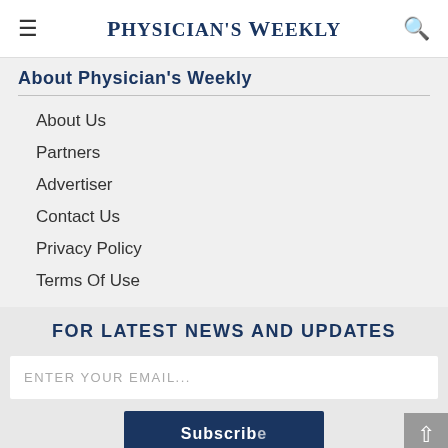PHYSICIAN'S WEEKLY
About Physician's Weekly
About Us
Partners
Advertiser
Contact Us
Privacy Policy
Terms Of Use
FOR LATEST NEWS AND UPDATES
ENTER YOUR EMAIL...
Subscribe